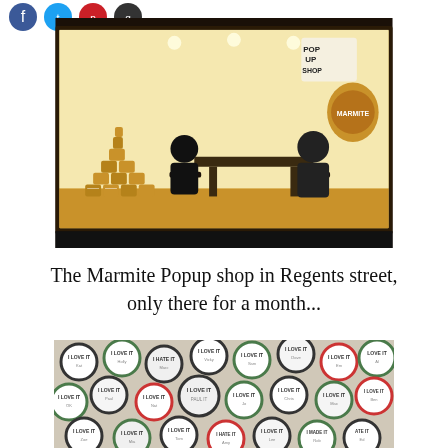[Figure (photo): A shop window display of the Marmite Popup shop on Regents Street at night. Two people sit at a table inside the brightly lit window. A pyramid of Marmite jars is stacked on the left. A large Marmite jar logo and 'POP UP SHOP' sign are visible in the upper right of the window.]
The Marmite Popup shop in Regents street, only there for a month...
[Figure (photo): A close-up photo of many circular Marmite badge/sticker lids scattered together. They read 'I LOVE IT', 'I HATE IT', and have names written on them in various colors including green, red, and black borders.]